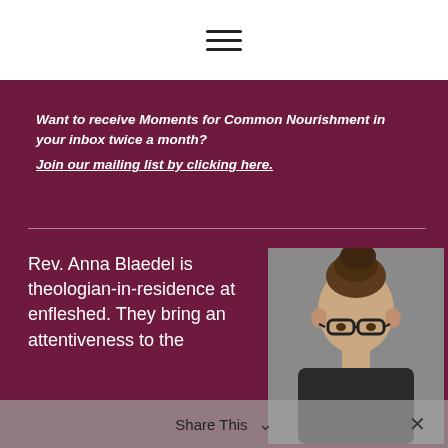[Figure (other): Hamburger menu icon (three horizontal lines) centered in the white top bar]
Want to receive Moments for Common Nourishment in your inbox twice a month?
Join our mailing list by clicking here.
Rev. Anna Blaedel is theologian-in-residence at enfleshed. They bring an attentiveness to the
[Figure (photo): Photo of Rev. Anna Blaedel — a person with hair pulled up, wearing dark-framed glasses, photographed against a grey background]
Share This